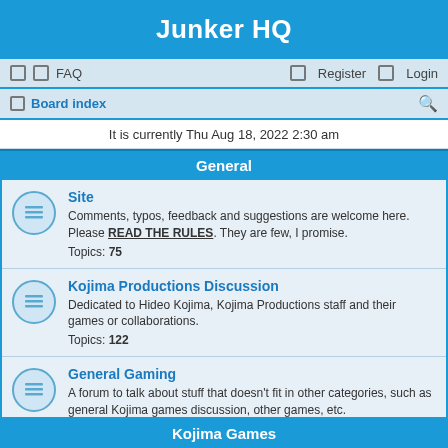Junker HQ
FAQ   Register   Login
Board index
It is currently Thu Aug 18, 2022 2:30 am
General
Site
Comments, typos, feedback and suggestions are welcome here. Please READ THE RULES. They are few, I promise.
Topics: 75
Kojima Productions Discussion
Dedicated to Hideo Kojima, Kojima Productions staff and their games or collaborations.
Topics: 122
General Gaming
A forum to talk about stuff that doesn't fit in other categories, such as general Kojima games discussion, other games, etc.
Topics: 375
Off Topic
Discussion for anything non-gaming.
Topics: 175
Kojima Games